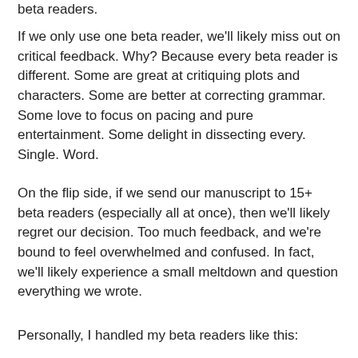beta readers.
If we only use one beta reader, we'll likely miss out on critical feedback. Why? Because every beta reader is different. Some are great at critiquing plots and characters. Some are better at correcting grammar. Some love to focus on pacing and pure entertainment. Some delight in dissecting every. Single. Word.
On the flip side, if we send our manuscript to 15+ beta readers (especially all at once), then we'll likely regret our decision. Too much feedback, and we're bound to feel overwhelmed and confused. In fact, we'll likely experience a small meltdown and question everything we wrote.
Personally, I handled my beta readers like this: